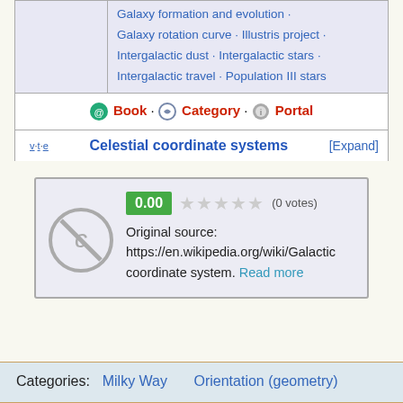|  | Galaxy formation and evolution · Galaxy rotation curve · Illustris project · Intergalactic dust · Intergalactic stars · Intergalactic travel · Population III stars |
|  | 📗 Book · 🗂 Category · 🌐 Portal |
| v·t·e | Celestial coordinate systems | [Expand] |
0.00 ☆☆☆☆☆ (0 votes) Original source: https://en.wikipedia.org/wiki/Galactic coordinate system. Read more
Categories: Milky Way    Orientation (geometry)